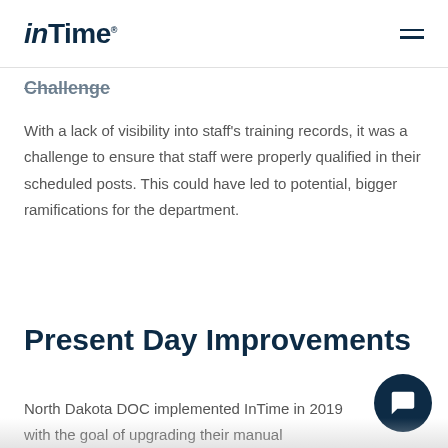inTime
Challenge
With a lack of visibility into staff's training records, it was a challenge to ensure that staff were properly qualified in their scheduled posts. This could have led to potential, bigger ramifications for the department.
Present Day Improvements
North Dakota DOC implemented InTime in 2019 with the goal of upgrading their manual...